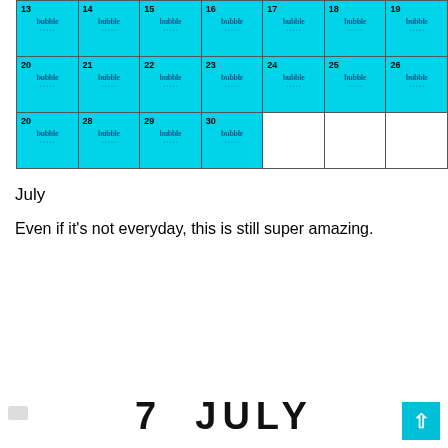[Figure (other): July calendar grid showing days 13-30 highlighted in cyan/teal with 'bubble' icons in each day cell. Days 13-26 fully filled, days 27-30 in last row with remaining cells empty (white).]
July
Even if it's not everyday, this is still super amazing.
7  JULY